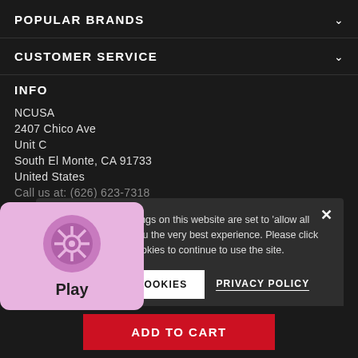POPULAR BRANDS
CUSTOMER SERVICE
INFO
NCUSA
2407 Chico Ave
Unit C
South El Monte, CA 91733
United States
Call us at: (626) 623-7318
Email: sales@nailcapitalusa.com
The cookie settings on this website are set to 'allow all cookies' to give you the very best experience. Please click Accept Cookies to continue to use the site.
ACCEPT COOKIES
PRIVACY POLICY
[Figure (illustration): Play widget with circular icon and label 'Play' on pink/lavender background]
wsletter
ADD TO CART